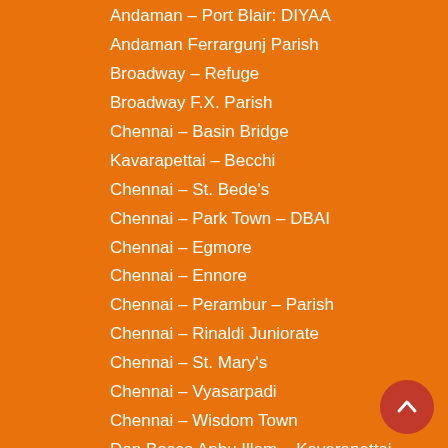Andaman – Port Blair: DIYAA
Andaman Ferrargunj Parish
Broadway – Refuge
Broadway F.X. Parish
Chennai – Basin Bridge
Kavarapettai – Becchi
Chennai – St. Bede's
Chennai – Park Town – DBAI
Chennai – Egmore
Chennai – Ennore
Chennai – Perambur – Parish
Chennai – Rinaldi Juniorate
Chennai – St. Mary's
Chennai – Vyasarpadi
Chennai – Wisdom Town
Don Bosco Anbu Illam – Kavarapettai
Parish – Ayanavaram
Perambur – Don Bosco
The Citadel
Gedilam – Maranodai
Karaikal – Thamanangudy
Pondicherry – Tagore Nagar